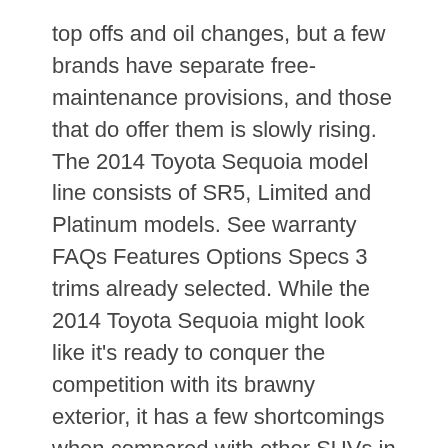top offs and oil changes, but a few brands have separate free-maintenance provisions, and those that do offer them is slowly rising. The 2014 Toyota Sequoia model line consists of SR5, Limited and Platinum models. See warranty FAQs Features Options Specs 3 trims already selected. While the 2014 Toyota Sequoia might look like it's ready to conquer the competition with its brawny exterior, it has a few shortcomings when compared with other SUVs in the full-size SUV segment. They are typically for the first couple of years of ownership of a new car. Sign Up, Already have an account? 2014 Toyota Sequoia Limited Specs. Toyota Sequoia 2014 - Find out the correct alloy wheel fitment, PCD, offset and such specs as bolt pattern, thread size(THD), center bore(CB) for Toyota Sequoia 2014 The Sequoia is Toyota's largest SUV, and it's powered by a 5.7-liter